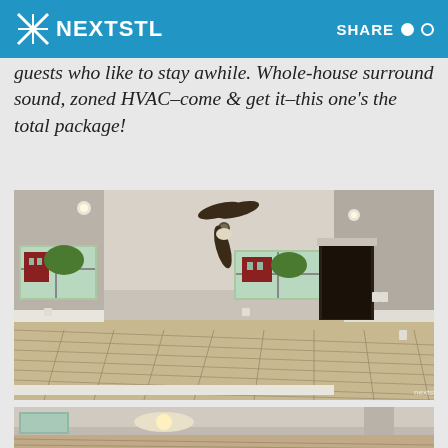NEXTSTL | SHARE
guests who like to stay awhile. Whole-house surround sound, zoned HVAC–come & get it–this one's the total package!
[Figure (photo): Interior photo of a large empty room with hardwood floors, ceiling fan, recessed lighting, windows with natural light showing a red brick building outside, and a doorway leading to another room.]
[Figure (photo): Partial view of another interior room, bottom portion visible showing similar hardwood flooring and lighting.]